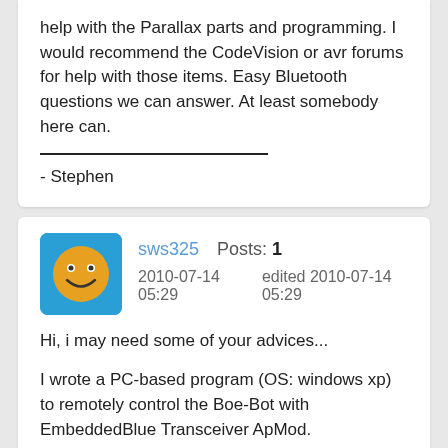help with the Parallax parts and programming. I would recommend the CodeVision or avr forums for help with those items. Easy Bluetooth questions we can answer. At least somebody here can.
- Stephen
sws325   Posts: 1
2010-07-14 05:29   edited 2010-07-14 05:29
Hi, i may need some of your advices...

I wrote a PC-based program (OS: windows xp) to remotely control the Boe-Bot with EmbeddedBlue Transceiver ApMod.
The robot receives commands sent from PC and moves as expected. (ex. forward, backward, leftturn and rightturn)
If EmbeddedBlue Transceiver ApMod is replaced by my new Easy Bluetooth module, some problems occurred regarding